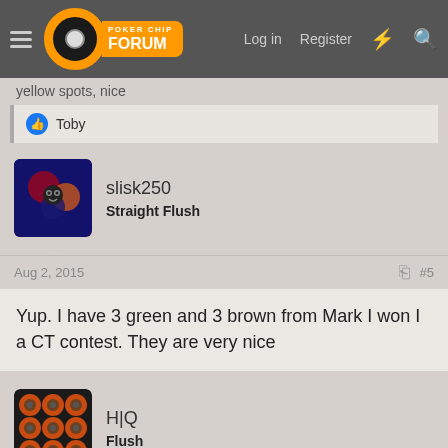Poker Chip Forum — Log in  Register
yellow spots, nice
👍 Toby
slisk250
Straight Flush
Aug 2, 2015  #5
Yup. I have 3 green and 3 brown from Mark I won I a CT contest. They are very nice
H|Q
Flush
Aug 2, 2015  #6
I have some bounty and rabbit hunting chips if anyone wants them.